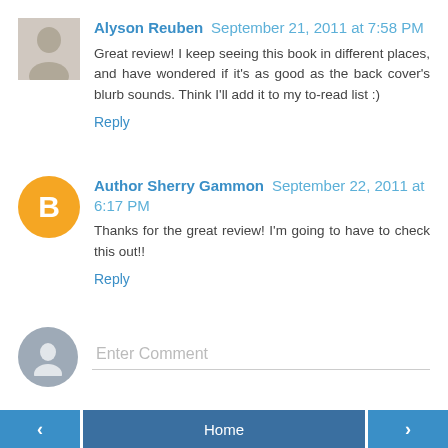Alyson Reuben  September 21, 2011 at 7:58 PM
Great review! I keep seeing this book in different places, and have wondered if it's as good as the back cover's blurb sounds. Think I'll add it to my to-read list :)
Reply
Author Sherry Gammon  September 22, 2011 at 6:17 PM
Thanks for the great review! I'm going to have to check this out!!
Reply
Enter Comment
‹  Home  ›